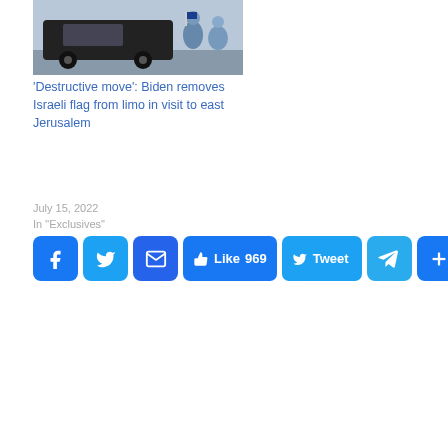[Figure (photo): Photo of a black limousine/SUV on a road, viewed from behind, with a person visible near the vehicle. Background shows open road and sky.]
'Destructive move': Biden removes Israeli flag from limo in visit to east Jerusalem
July 15, 2022
In "Exclusives"
[Figure (screenshot): Social sharing buttons: Facebook, Twitter, Email, Like 969, Tweet, Telegram, Share More]